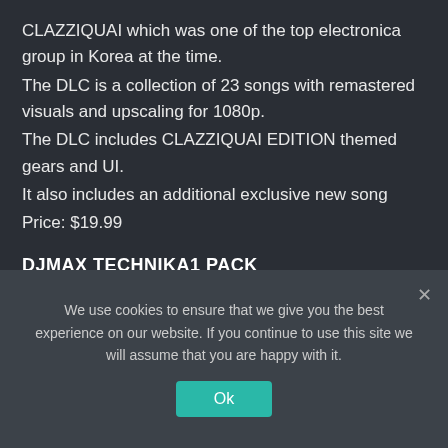CLAZZIQUAI which was one of the top electronica group in Korea at the time.
The DLC is a collection of 23 songs with remastered visuals and upscaling for 1080p.
The DLC includes CLAZZIQUAI EDITION themed gears and UI.
It also includes an additional exclusive new song
Price: $19.99
DJMAX TECHNIKA1 PACK
We use cookies to ensure that we give you the best experience on our website. If you continue to use this site we will assume that you are happy with it.